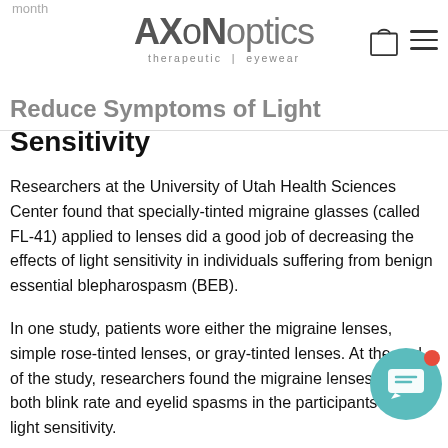month
[Figure (logo): Axon Optics therapeutic eyewear logo with shopping bag and hamburger menu icons]
Reduce Symptoms of Light Sensitivity
Researchers at the University of Utah Health Sciences Center found that specially-tinted migraine glasses (called FL-41) applied to lenses did a good job of decreasing the effects of light sensitivity in individuals suffering from benign essential blepharospasm (BEB).
In one study, patients wore either the migraine lenses, simple rose-tinted lenses, or gray-tinted lenses. At the end of the study, researchers found the migraine lenses reduced both blink rate and eyelid spasms in the participants with light sensitivity.
In another study, the effects of FL-41 tinted migraine glasses were compared to gray-tinted glasses for two